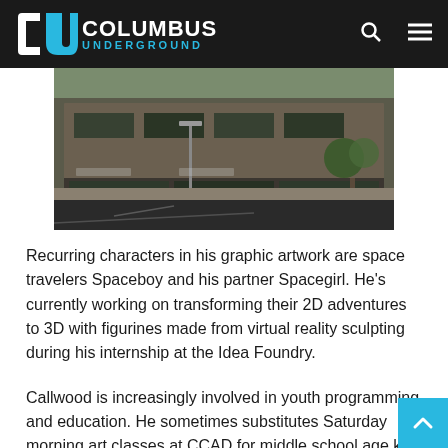Columbus Underground
[Figure (photo): Street-level exterior photo of a mixed-use building with retail storefronts, brick facade, parking lot in foreground, trees and lamp posts visible.]
Recurring characters in his graphic artwork are space travelers Spaceboy and his partner Spacegirl. He's currently working on transforming their 2D adventures to 3D with figurines made from virtual reality sculpting during his internship at the Idea Foundry.
Callwood is increasingly involved in youth programming and education. He sometimes substitutes Saturday morning art classes at CCAD for middle school age kids and teaches private classes